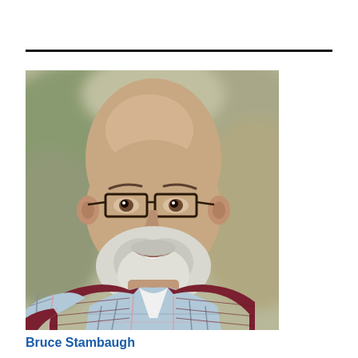[Figure (photo): Portrait photo of an elderly bald man with glasses, white beard, wearing a dark red/maroon quilted vest over a plaid collared shirt. He is smiling. The background is blurred, showing muted greens and browns suggesting an outdoor setting.]
Bruce Stambaugh